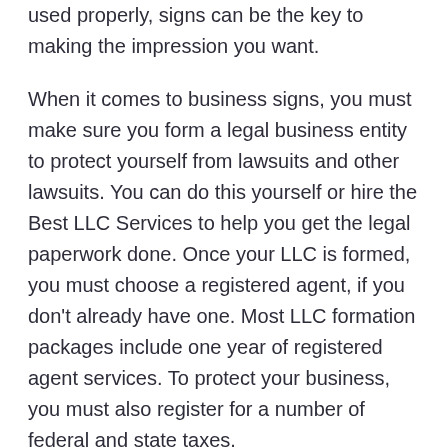used properly, signs can be the key to making the impression you want.
When it comes to business signs, you must make sure you form a legal business entity to protect yourself from lawsuits and other lawsuits. You can do this yourself or hire the Best LLC Services to help you get the legal paperwork done. Once your LLC is formed, you must choose a registered agent, if you don't already have one. Most LLC formation packages include one year of registered agent services. To protect your business, you must also register for a number of federal and state taxes.
Using custom signage is another great way to increase visibility. Not only will it attract attention, but people love to see beauty. By using a beautifully designed business sign, you can satisfy their craving for beauty, and earn customers. Your signage will leave a lasting